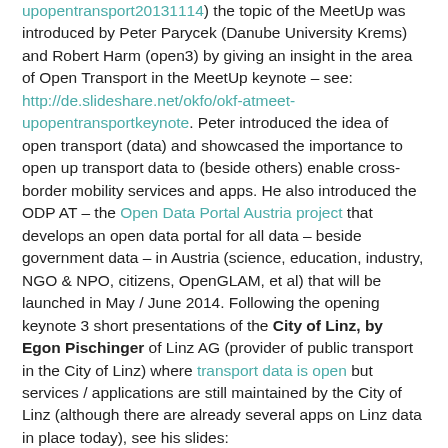upopentransport20131114) the topic of the MeetUp was introduced by Peter Parycek (Danube University Krems) and Robert Harm (open3) by giving an insight in the area of Open Transport in the MeetUp keynote – see: http://de.slideshare.net/okfo/okf-atmeet-upopentransportkeynote. Peter introduced the idea of open transport (data) and showcased the importance to open up transport data to (beside others) enable cross-border mobility services and apps. He also introduced the ODP AT – the Open Data Portal Austria project that develops an open data portal for all data – beside government data – in Austria (science, education, industry, NGO & NPO, citizens, OpenGLAM, et al) that will be launched in May / June 2014. Following the opening keynote 3 short presentations of the City of Linz, by Egon Pischinger of Linz AG (provider of public transport in the City of Linz) where transport data is open but services / applications are still maintained by the City of Linz (although there are already several apps on Linz data in place today), see his slides: http://de.slideshare.net/okfo/okf-atmeet-upopentransportdatalinz. Big discussion with Egon & the